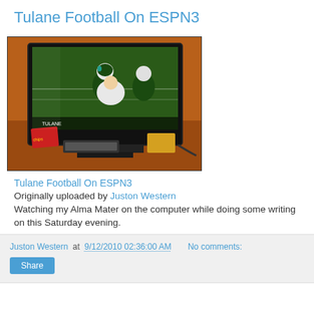Tulane Football On ESPN3
[Figure (photo): Photo of a TV screen showing Tulane football players on ESPN3, with snacks and keyboard visible around the TV on a desk.]
Tulane Football On ESPN3
Originally uploaded by Juston Western
Watching my Alma Mater on the computer while doing some writing on this Saturday evening.
Juston Western at 9/12/2010 02:36:00 AM   No comments:  Share